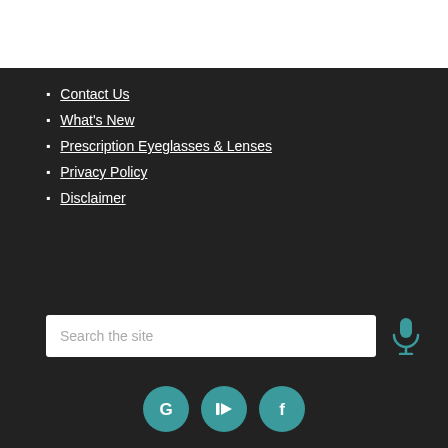Contact Us
What's New
Prescription Eyeglasses & Lenses
Privacy Policy
Disclaimer
[Figure (other): Search bar with placeholder text 'Search the site' and a microphone icon button]
[Figure (other): Social media icons row: Google, YouTube, Facebook — teal circular buttons]